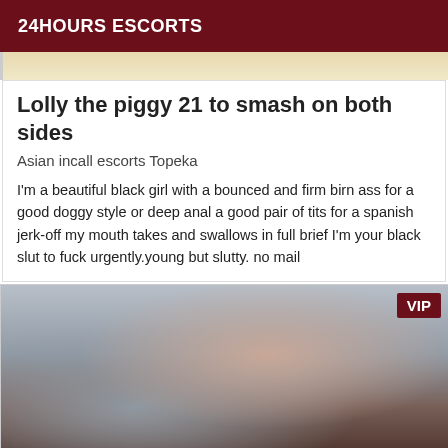24HOURS ESCORTS
[Figure (photo): Partial photo of a person, cropped at top]
Lolly the piggy 21 to smash on both sides
Asian incall escorts Topeka
I'm a beautiful black girl with a bounced and firm birn ass for a good doggy style or deep anal a good pair of tits for a spanish jerk-off my mouth takes and swallows in full brief I'm your black slut to fuck urgently.young but slutty. no mail
[Figure (photo): Photo of a woman wearing a necklace, with VIP badge in top right corner]